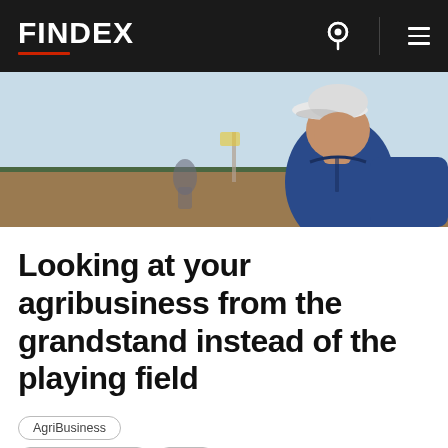FINDEX
[Figure (photo): Outdoor photo of a man wearing a white cap and blue vest, looking downward, with a blurred field and other people in the background.]
Looking at your agribusiness from the grandstand instead of the playing field
AgriBusiness
Business Advisory
SME
Share